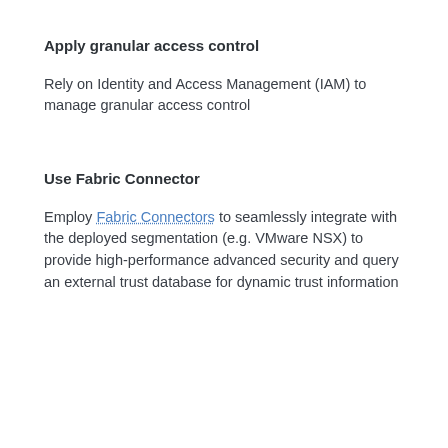Apply granular access control
Rely on Identity and Access Management (IAM) to manage granular access control
Use Fabric Connector
Employ Fabric Connectors to seamlessly integrate with the deployed segmentation (e.g. VMware NSX) to provide high-performance advanced security and query an external trust database for dynamic trust information